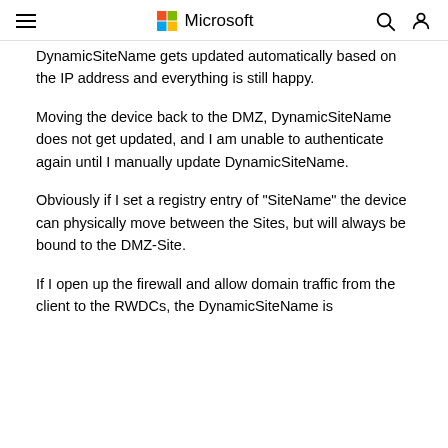Microsoft
DynamicSiteName gets updated automatically based on the IP address and everything is still happy.
Moving the device back to the DMZ, DynamicSiteName does not get updated, and I am unable to authenticate again until I manually update DynamicSiteName.
Obviously if I set a registry entry of "SiteName" the device can physically move between the Sites, but will always be bound to the DMZ-Site.
If I open up the firewall and allow domain traffic from the client to the RWDCs, the DynamicSiteName is